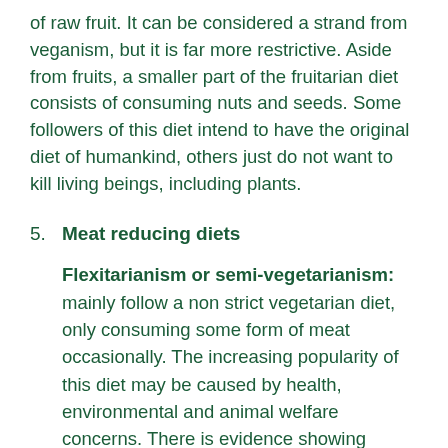The fruitarians have a diet that consists of up to 70% of raw fruit. It can be considered a strand from veganism, but it is far more restrictive. Aside from fruits, a smaller part of the fruitarian diet consists of consuming nuts and seeds. Some followers of this diet intend to have the original diet of humankind, others just do not want to kill living beings, including plants.
5. Meat reducing diets
Flexitarianism or semi-vegetarianism: mainly follow a non strict vegetarian diet, only consuming some form of meat occasionally. The increasing popularity of this diet may be caused by health, environmental and animal welfare concerns. There is evidence showing benefits in relation to weight loss, metabolic health, and diabetes prevention on those who follow a